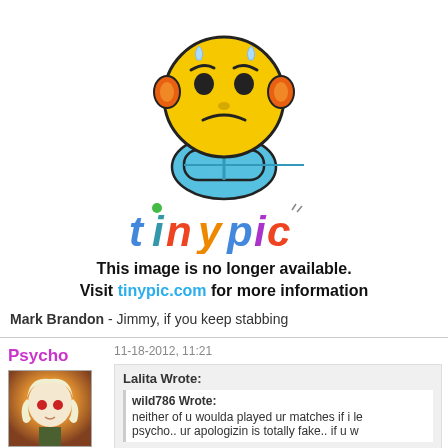[Figure (illustration): TinyPic mascot - yellow frustrated smiley face with orange ears and blue body, with 'tinypic' colorful logo below]
This image is no longer available.
Visit tinypic.com for more information
Mark Brandon - Jimmy, if you keep stabbing
Psycho
[Figure (photo): Anime girl avatar with light hair and red eyes]
rockband addict
Posts: 1,026
11-18-2012, 11:21
Lalita Wrote:
wild786 Wrote:
neither of u woulda played ur matches if i le psycho.. ur apologizin is totally fake.. if u w